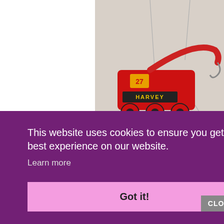[Figure (photo): A photo showing toy ornaments hanging by silver wire strings on a light background. A red train toy labeled 'HARVEY' with the number 27 is visible, along with a yellow toy vehicle and an orange toy at the bottom right. The left portion of the image is white/empty.]
This website uses cookies to ensure you get the best experience on our website.
Learn more
Got it!
CLOSE